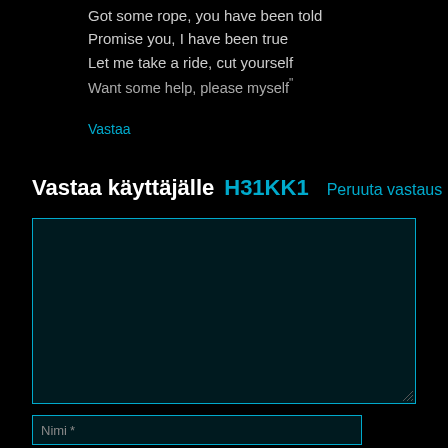Got some rope, you have been told
Promise you, I have been true
Let me take a ride, cut yourself
Want some help, please myself"
Vastaa
Vastaa käyttäjälle H31KK1   Peruuta vastaus
[Figure (screenshot): Dark teal text input textarea with cyan border]
[Figure (screenshot): Dark teal text input field with label 'Nimi *']